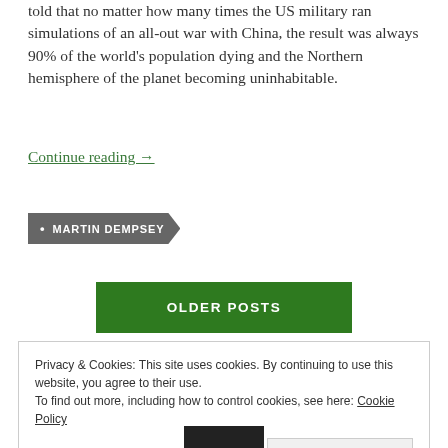told that no matter how many times the US military ran simulations of an all-out war with China, the result was always 90% of the world’s population dying and the Northern hemisphere of the planet becoming uninhabitable.
Continue reading →
MARTIN DEMPSEY
OLDER POSTS
Privacy & Cookies: This site uses cookies. By continuing to use this website, you agree to their use.
To find out more, including how to control cookies, see here: Cookie Policy
Close and accept